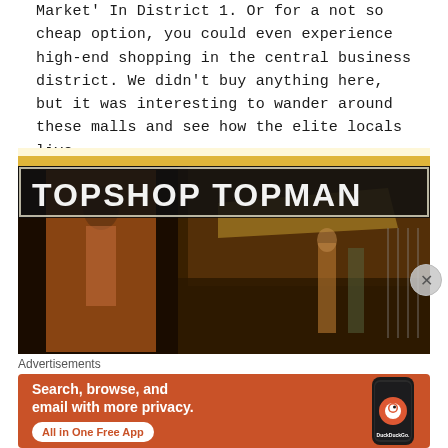Market' In District 1. Or for a not so cheap option, you could even experience high-end shopping in the central business district. We didn't buy anything here, but it was interesting to wander around these malls and see how the elite locals live.
[Figure (photo): Interior photo of a Topshop Topman retail store front with illuminated signage showing 'TOPSHOP TOPMAN' in white neon letters against a dark background. A fashion model/mannequin is visible on the left side, and clothing displays are visible inside the store.]
Advertisements
[Figure (other): DuckDuckGo advertisement with orange background. Text reads: 'Search, browse, and email with more privacy. All in One Free App'. Shows DuckDuckGo logo and a phone graphic on the right side.]